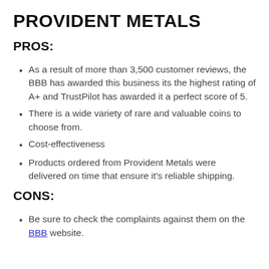PROVIDENT METALS
PROS:
As a result of more than 3,500 customer reviews, the BBB has awarded this business its the highest rating of A+ and TrustPilot has awarded it a perfect score of 5.
There is a wide variety of rare and valuable coins to choose from.
Cost-effectiveness
Products ordered from Provident Metals were delivered on time that ensure it's reliable shipping.
CONS:
Be sure to check the complaints against them on the BBB website.